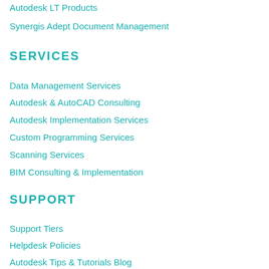Autodesk LT Products
Synergis Adept Document Management
SERVICES
Data Management Services
Autodesk & AutoCAD Consulting
Autodesk Implementation Services
Custom Programming Services
Scanning Services
BIM Consulting & Implementation
SUPPORT
Support Tiers
Helpdesk Policies
Autodesk Tips & Tutorials Blog